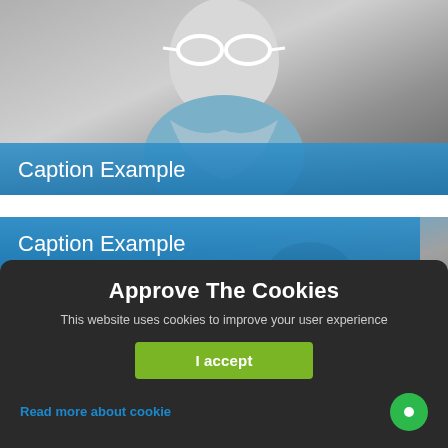[Figure (photo): Black and white fashion photo of a woman with large round sunglasses and a silk scarf, hands raised near her head, with a blue semi-transparent caption bar at the bottom]
Caption Example
[Figure (photo): Black and white fashion photo of a woman with dark hair, partially overlaid with a blue caption bar at the top]
Caption Example
Approve The Cookies
This website uses cookies to improve your user experience
I accept
Read more about cookie